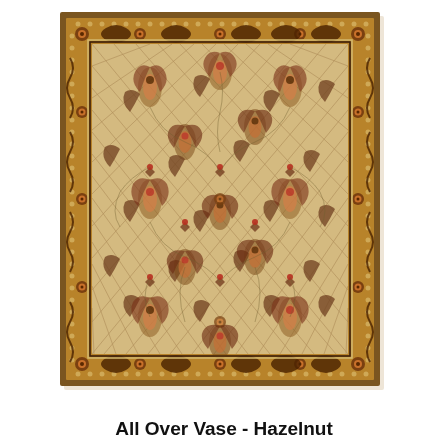[Figure (photo): A traditional Persian-style area rug with an all-over vase pattern. The rug has a hazelnut/gold cream field filled with intricate floral and vase motifs in dark brown, burgundy/red, and olive tones. A wide decorative border in warm brown surrounds the field, bordered by smaller inner and outer guard stripes with repeating small floral and geometric ornaments.]
All Over Vase - Hazelnut